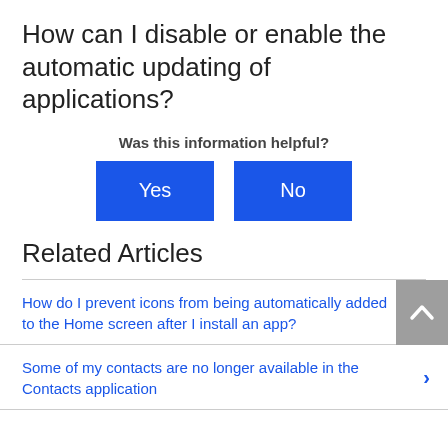How can I disable or enable the automatic updating of applications?
Was this information helpful?
Yes | No
Related Articles
How do I prevent icons from being automatically added to the Home screen after I install an app?
Some of my contacts are no longer available in the Contacts application